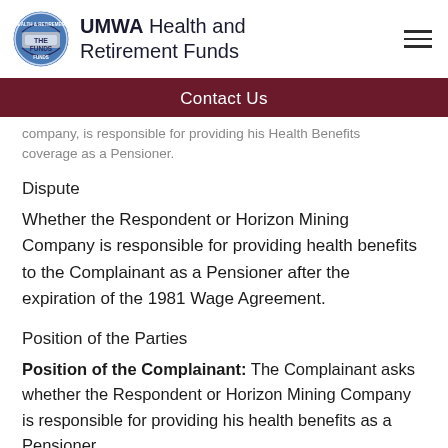UMWA Health and Retirement Funds
Contact Us
company, is responsible for providing his Health Benefits coverage as a Pensioner.
Dispute
Whether the Respondent or Horizon Mining Company is responsible for providing health benefits to the Complainant as a Pensioner after the expiration of the 1981 Wage Agreement.
Position of the Parties
Position of the Complainant: The Complainant asks whether the Respondent or Horizon Mining Company is responsible for providing his health benefits as a Pensioner.
Position of the Respondent: The Complainant's coverage under